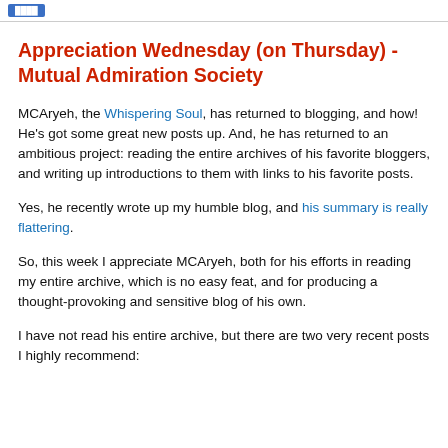Appreciation Wednesday (on Thursday) - Mutual Admiration Society
MCAryeh, the Whispering Soul, has returned to blogging, and how! He's got some great new posts up. And, he has returned to an ambitious project: reading the entire archives of his favorite bloggers, and writing up introductions to them with links to his favorite posts.
Yes, he recently wrote up my humble blog, and his summary is really flattering.
So, this week I appreciate MCAryeh, both for his efforts in reading my entire archive, which is no easy feat, and for producing a thought-provoking and sensitive blog of his own.
I have not read his entire archive, but there are two very recent posts I highly recommend: